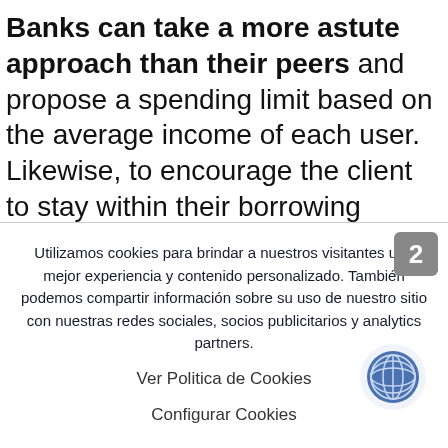Banks can take a more astute approach than their peers and propose a spending limit based on the average income of each user. Likewise, to encourage the client to stay within their borrowing capacity, the bank can also provide
Utilizamos cookies para brindar a nuestros visitantes una mejor experiencia y contenido personalizado. También podemos compartir información sobre su uso de nuestro sitio con nuestras redes sociales, socios publicitarios y analytics partners.
Ver Politica de Cookies
[Figure (illustration): Globe icon in a circle with blue background, representing language or region settings]
Configurar Cookies
Aceptar Cookies